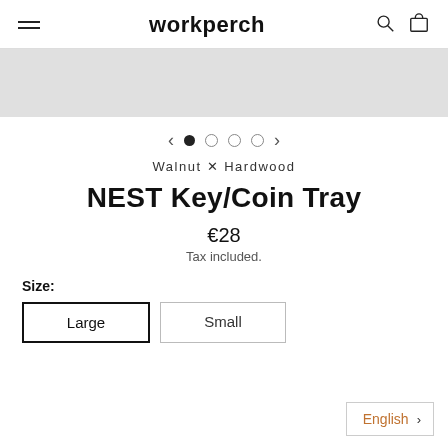workperch
[Figure (other): Light gray image placeholder banner]
[Figure (other): Carousel navigation with left arrow, 4 dots (first filled), right arrow]
Walnut X Hardwood
NEST Key/Coin Tray
€28
Tax included.
Size:
Large   Small
English >